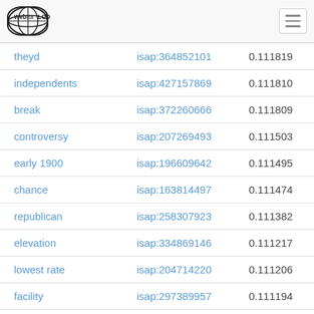Web isa LOD [navigation menu icon]
| term | id | score |
| --- | --- | --- |
| theyd | isap:364852101 | 0.111819 |
| independents | isap:427157869 | 0.111810 |
| break | isap:372260666 | 0.111809 |
| controversy | isap:207269493 | 0.111503 |
| early 1900 | isap:196609642 | 0.111495 |
| chance | isap:163814497 | 0.111474 |
| republican | isap:258307923 | 0.111382 |
| elevation | isap:334869146 | 0.111217 |
| lowest rate | isap:204714220 | 0.111206 |
| facility | isap:297389957 | 0.111194 |
| whole | isap:367551756 | 0.111184 |